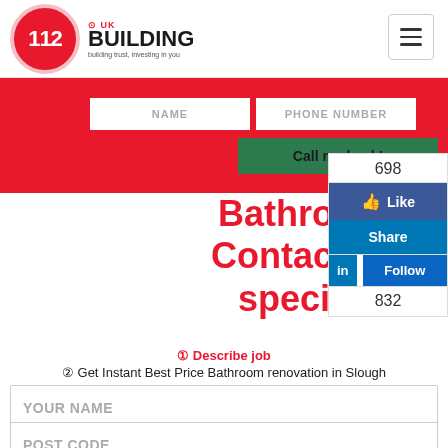[Figure (logo): 112 UK Building logo with red circle and hamburger menu button]
[Figure (screenshot): Red banner with NAME and PHONE NUMBER input fields and a green Call me back! button]
Bathroom renovation in Slo... Contact Bathroom renovation specialist in Slough now!
[Figure (infographic): Social media sidebar with counts 698 Like, Share, in Follow, 832]
① Describe job
② Get Instant Best Price Bathroom renovation in Slough
YOUR NAME
POST CODE